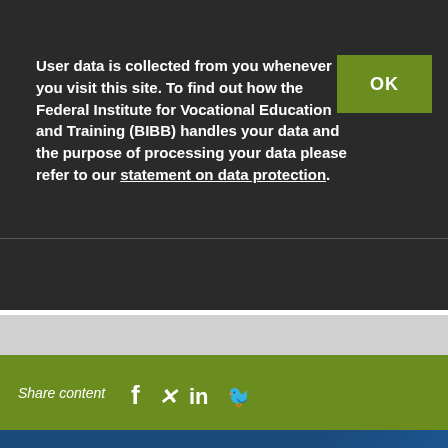BIBB VOCATIONAL EDUCATION AND TRAINING IN GERMANY
User data is collected from you whenever you visit this site. To find out how the Federal Institute for Vocational Education and Training (BIBB) handles your data and the purpose of processing your data please refer to our statement on data protection.
OK
2) FURTHER INFORMATION
landscape from the provider perspective (German only)
Share content
[Figure (other): Social media share icons: Facebook (f), Xing (X), LinkedIn (in), Twitter (bird)]